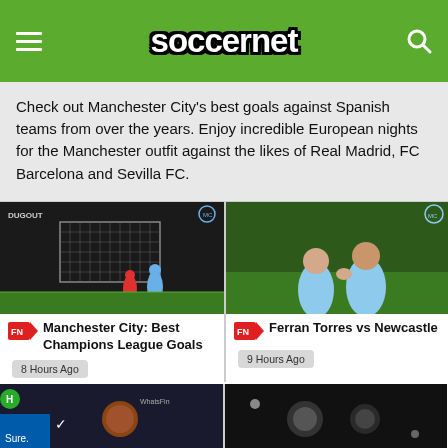soccernet
Check out Manchester City's best goals against Spanish teams from over the years. Enjoy incredible European nights for the Manchester outfit against the likes of Real Madrid, FC Barcelona and Sevilla FC.
[Figure (photo): Manchester City Champions League goal scene]
Manchester City: Best Champions League Goals
8 Hours Ago
[Figure (photo): Ferran Torres celebrating with teammate]
Ferran Torres vs Newcastle
9 Hours Ago
[Figure (photo): Bottom left article thumbnail]
[Figure (photo): Bottom right article thumbnail]